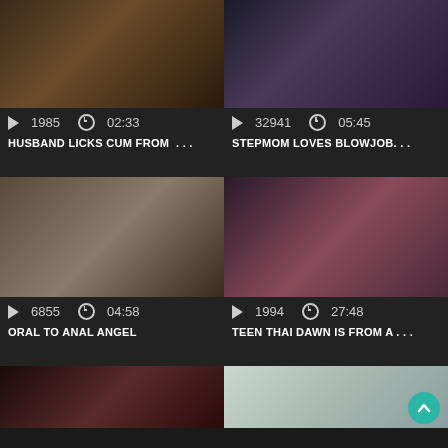[Figure (screenshot): Video thumbnail grid - top left video card: play count 1985, duration 02:33, title HUSBAND LICKS CUM FROM ...]
[Figure (screenshot): Video thumbnail grid - top right video card: play count 32941, duration 05:45, title STEPMOM LOVES BLOWJOB...]
[Figure (screenshot): Video thumbnail grid - middle left video card: play count 6855, duration 04:58, title ORAL TO ANAL ANGEL]
[Figure (screenshot): Video thumbnail grid - middle right video card: play count 1994, duration 27:48, title TEEN THAI DAWN IS FROM A...]
[Figure (screenshot): Video thumbnail grid - bottom left video card: partial thumbnail visible]
[Figure (screenshot): Video thumbnail grid - bottom right video card: partial thumbnail visible, scroll-to-top button visible]